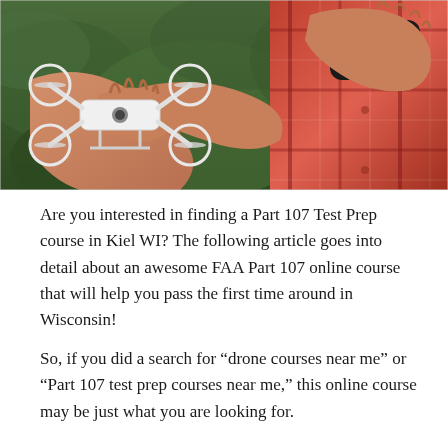[Figure (photo): A person in a red plaid shirt holding a white quadcopter drone in one hand and a remote controller in the other hand, with green foliage in the background.]
Are you interested in finding a Part 107 Test Prep course in Kiel WI? The following article goes into detail about an awesome FAA Part 107 online course that will help you pass the first time around in Wisconsin!
So, if you did a search for “drone courses near me” or “Part 107 test prep courses near me,” this online course may be just what you are looking for.